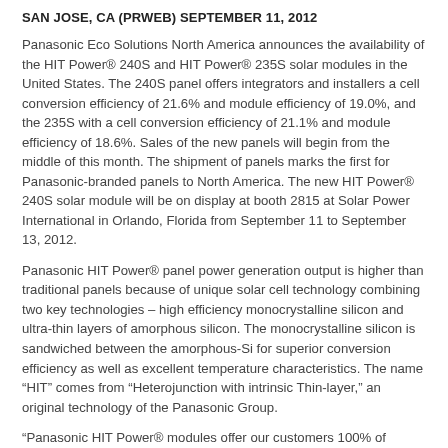SAN JOSE, CA (PRWEB) SEPTEMBER 11, 2012
Panasonic Eco Solutions North America announces the availability of the HIT Power® 240S and HIT Power® 235S solar modules in the United States. The 240S panel offers integrators and installers a cell conversion efficiency of 21.6% and module efficiency of 19.0%, and the 235S with a cell conversion efficiency of 21.1% and module efficiency of 18.6%. Sales of the new panels will begin from the middle of this month. The shipment of panels marks the first for Panasonic-branded panels to North America. The new HIT Power® 240S solar module will be on display at booth 2815 at Solar Power International in Orlando, Florida from September 11 to September 13, 2012.
Panasonic HIT Power® panel power generation output is higher than traditional panels because of unique solar cell technology combining two key technologies – high efficiency monocrystalline silicon and ultra-thin layers of amorphous silicon. The monocrystalline silicon is sandwiched between the amorphous-Si for superior conversion efficiency as well as excellent temperature characteristics. The name "HIT" comes from "Heterojunction with intrinsic Thin-layer," an original technology of the Panasonic Group.
"Panasonic HIT Power® modules offer our customers 100% of